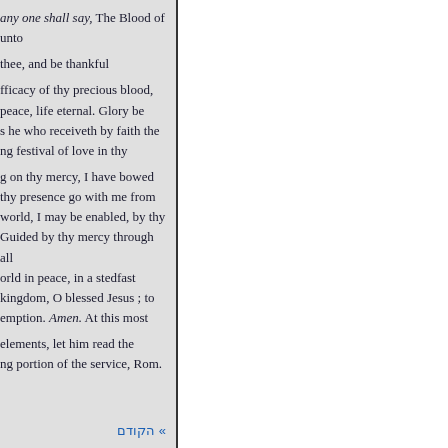any one shall say, The Blood of unto
thee, and be thankful
fficacy of thy precious blood, peace, life eternal. Glory be s he who receiveth by faith the ng festival of love in thy
g on thy mercy, I have bowed thy presence go with me from world, I may be enabled, by thy Guided by thy mercy through all orld in peace, in a stedfast kingdom, O blessed Jesus ; to emption. Amen. At this most
elements, let him read the ng portion of the service, Rom.
» הקודם